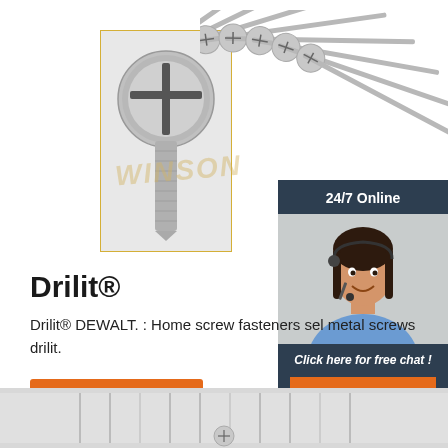[Figure (photo): Close-up of a pan-head screw showing Phillips cross drive from top angle, displayed in a yellow-bordered box. Behind it, a fan arrangement of multiple long metal screws spread out. Watermark text partially visible.]
24/7 Online
[Figure (photo): Customer service representative woman with headset, smiling, wearing blue shirt]
Click here for free chat !
QUOTATION
Drilit®
Drilit® DEWALT. : Home screw fasteners sel metal screws drilit.
Get Price
[Figure (photo): Bottom strip showing partial view of screws on surface]